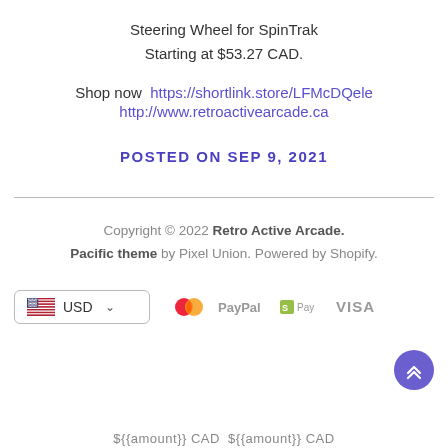Steering Wheel for SpinTrak
Starting at $53.27 CAD.
Shop now  https://shortlink.store/LFMcDQele
http://www.retroactivearcade.ca
POSTED ON SEP 9, 2021
Copyright © 2022 Retro Active Arcade.
Pacific theme by Pixel Union. Powered by Shopify.
[Figure (other): Currency selector button showing USD with US flag and dropdown chevron, alongside payment icons: Mastercard, PayPal, Shopify Pay, VISA]
${{amount}} CAD  ${{amount}} CAD